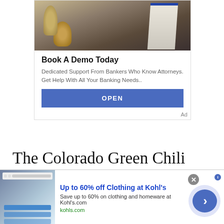[Figure (photo): Advertisement banner with photo of legal/banking scene showing scales of justice, gavel and books]
Book A Demo Today
Dedicated Support From Bankers Who Know Attorneys. Get Help With All Your Banking Needs..
OPEN
Ad
The Colorado Green Chili appears often on lists that name the most iconic foods in Colorado. After trying it out I can
[Figure (screenshot): Bottom advertisement banner: Up to 60% off Clothing at Kohl's - Save up to 60% on clothing and homeware at Kohl's.com - kohls.com]